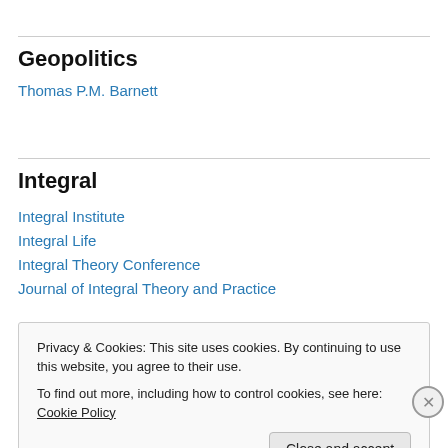Geopolitics
Thomas P.M. Barnett
Integral
Integral Institute
Integral Life
Integral Theory Conference
Journal of Integral Theory and Practice
Ken Wilber
Privacy & Cookies: This site uses cookies. By continuing to use this website, you agree to their use.
To find out more, including how to control cookies, see here: Cookie Policy
Close and accept